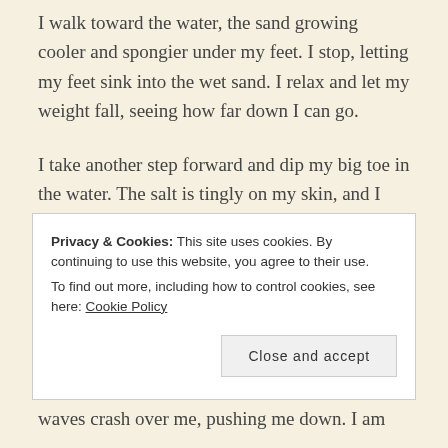I walk toward the water, the sand growing cooler and spongier under my feet. I stop, letting my feet sink into the wet sand. I relax and let my weight fall, seeing how far down I can go.
I take another step forward and dip my big toe in the water. The salt is tingly on my skin, and I ease my foot in. The water is cold, but refreshing. I take another step. I ease in to my ankles, then my knees, then my waist. I stand in the water, feeling the current course throughout my body.
Privacy & Cookies: This site uses cookies. By continuing to use this website, you agree to their use. To find out more, including how to control cookies, see here: Cookie Policy
waves crash over me, pushing me down. I am